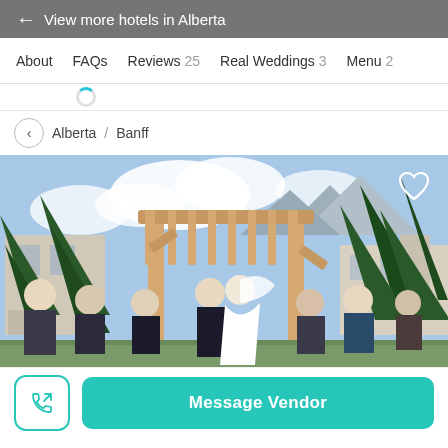← View more hotels in Alberta
About   FAQs   Reviews 25   Real Weddings 3   Menu 2
[Figure (screenshot): Partially visible loading spinner]
< Alberta / Banff
[Figure (photo): Outdoor wedding ceremony under a wooden arch/pergola with mountains in the background, surrounded by pine trees. A couple kissing at the altar with guests visible on the sides.]
Message Vendor